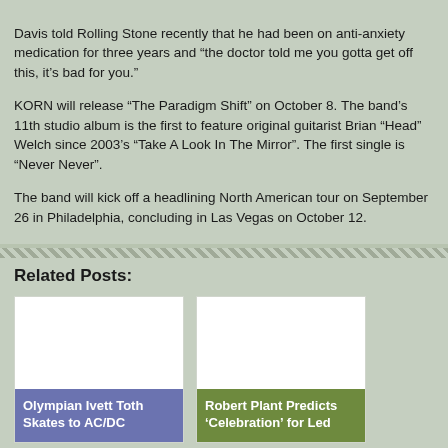Davis told Rolling Stone recently that he had been on anti-anxiety medication for three years and “the doctor told me you gotta get off this, it’s bad for you.”
KORN will release “The Paradigm Shift” on October 8. The band’s 11th studio album is the first to feature original guitarist Brian “Head” Welch since 2003’s “Take A Look In The Mirror”. The first single is “Never Never”.
The band will kick off a headlining North American tour on September 26 in Philadelphia, concluding in Las Vegas on October 12.
Related Posts:
[Figure (photo): Post card: Olympian Ivett Toth Skates to AC/DC - white image area with blue label]
[Figure (photo): Post card: Robert Plant Predicts 'Celebration' for Led - white image area with green label]
[Figure (photo): Bottom post card left - white image area]
[Figure (photo): Bottom post card right - white image area]